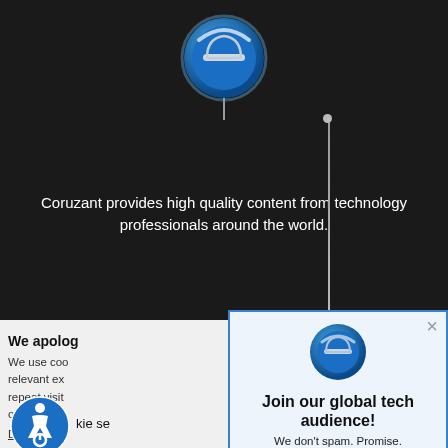[Figure (screenshot): Dark background with Coruzant logo (blue circular icon) at top center connected by a thin line to a dot, with tagline text below]
Coruzant provides high quality content from technology professionals around the world.
We apolog
We use coo relevant ex repeat visit of all the co
Do not sell
[Figure (logo): Accessibility icon — blue circle with wheelchair user symbol]
kie se
[Figure (screenshot): Modal popup with Coruzant logo, join newsletter form with email input and Subscribe button]
Join our global tech audience!
We don't spam. Promise.
Your email address
Subscribe!